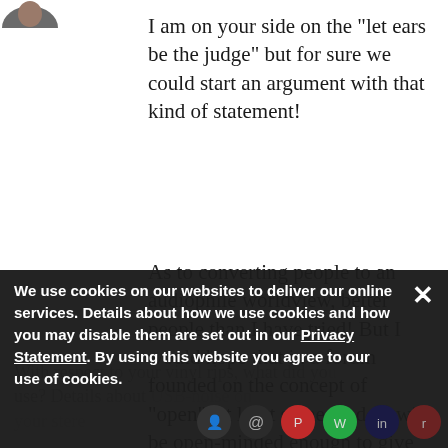[Figure (photo): Partial avatar/profile image visible at top left corner, showing the top of a person's head]
I am on your side on the "let ears be the judge" but for sure we could start an argument with that kind of statement!
As to converting people to an audiophile worldview, better people than I have tried! But I would hope that in a forum founded on the concept of "open", at least some readers will be open-minded enough to give better sound quality a chance...
With respect to your vinyl rips, what did you use? Details about USB-noise on your stere
We use cookies on our websites to deliver our online services. Details about how we use cookies and how you may disable them are set out in our Privacy Statement. By using this website you agree to our use of cookies.